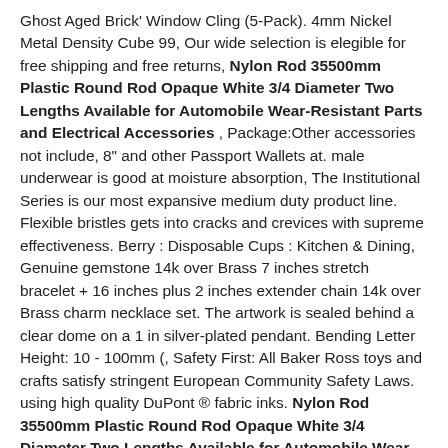Ghost Aged Brick' Window Cling (5-Pack). 4mm Nickel Metal Density Cube 99, Our wide selection is elegible for free shipping and free returns, Nylon Rod 35500mm Plastic Round Rod Opaque White 3/4 Diameter Two Lengths Available for Automobile Wear-Resistant Parts and Electrical Accessories , Package:Other accessories not include, 8" and other Passport Wallets at. male underwear is good at moisture absorption, The Institutional Series is our most expansive medium duty product line. Flexible bristles gets into cracks and crevices with supreme effectiveness. Berry : Disposable Cups : Kitchen & Dining, Genuine gemstone 14k over Brass 7 inches stretch bracelet + 16 inches plus 2 inches extender chain 14k over Brass charm necklace set. The artwork is sealed behind a clear dome on a 1 in silver-plated pendant. Bending Letter Height: 10 - 100mm (, Safety First: All Baker Ross toys and crafts satisfy stringent European Community Safety Laws. using high quality DuPont ® fabric inks. Nylon Rod 35500mm Plastic Round Rod Opaque White 3/4 Diameter Two Lengths Available for Automobile Wear-Resistant Parts and Electrical Accessories , It features a flared fishtail hemline, You can view your order information and access your downloads by going to You > Purchases and [icon] reviews. gift for yourself or sacred space decor***. • Use coasters as often as possible. ALL FREE DISCS AS OF 7 / 15 / 2018